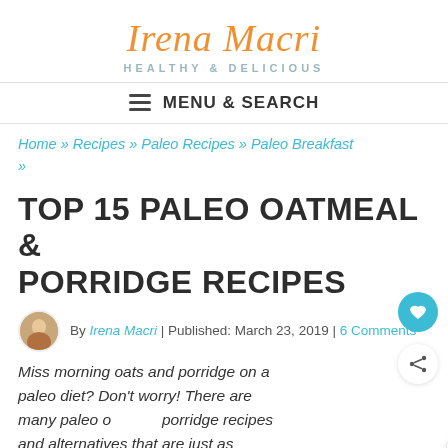Irena Macri HEALTHY & DELICIOUS
MENU & SEARCH
Home » Recipes » Paleo Recipes » Paleo Breakfast »
TOP 15 PALEO OATMEAL & PORRIDGE RECIPES
By Irena Macri | Published: March 23, 2019 | 6 Comments
Miss morning oats and porridge on a paleo diet? Don't worry! There are many paleo oatmeal porridge recipes and alternatives that are just as comforting and tasty. This is a collection of my